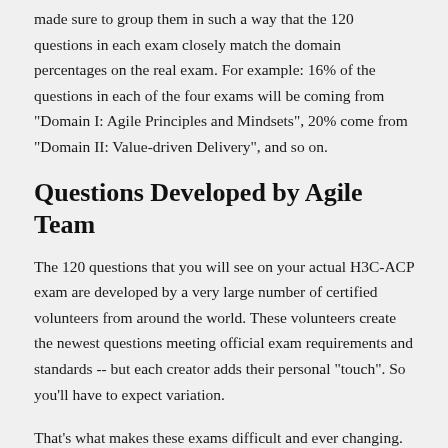made sure to group them in such a way that the 120 questions in each exam closely match the domain percentages on the real exam. For example: 16% of the questions in each of the four exams will be coming from "Domain I: Agile Principles and Mindsets", 20% come from "Domain II: Value-driven Delivery", and so on.
Questions Developed by Agile Team
The 120 questions that you will see on your actual H3C-ACP exam are developed by a very large number of certified volunteers from around the world. These volunteers create the newest questions meeting official exam requirements and standards -- but each creator adds their personal "touch". So you'll have to expect variation.
That's what makes these exams difficult and ever changing.
The good news is that the questions you will see in your simulator are similarly developed. We brought on a worldwide team of H3C